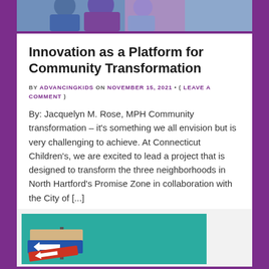[Figure (photo): Partial photo of people at top of card]
Innovation as a Platform for Community Transformation
BY ADVANCINGKIDS ON NOVEMBER 15, 2021 • ( LEAVE A COMMENT )
By: Jacquelyn M. Rose, MPH Community transformation – it's something we all envision but is very challenging to achieve. At Connecticut Children's, we are excited to lead a project that is designed to transform the three neighborhoods in North Hartford's Promise Zone in collaboration with the City of [...]
[Figure (photo): Teal background with directional arrow signs illustration at bottom of page]